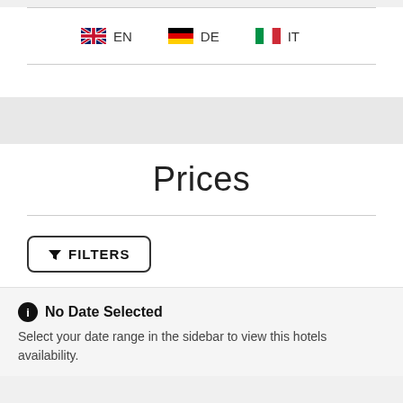[Figure (other): Language selector row with UK flag (EN), German flag (DE), and Italian flag (IT)]
Prices
▼ FILTERS
No Date Selected
Select your date range in the sidebar to view this hotels availability.